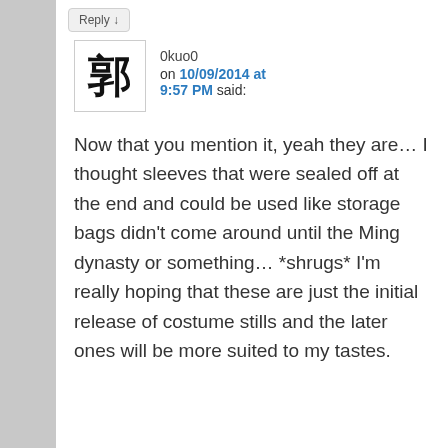Reply ↓
0kuo0 on 10/09/2014 at 9:57 PM said:
Now that you mention it, yeah they are… I thought sleeves that were sealed off at the end and could be used like storage bags didn't come around until the Ming dynasty or something… *shrugs* I'm really hoping that these are just the initial release of costume stills and the later ones will be more suited to my tastes.